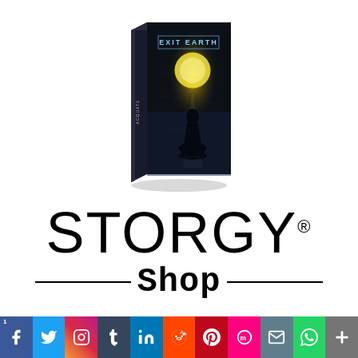[Figure (photo): A 3D book box product image for 'Exit Earth' showing a dark moody cover with a figure silhouetted against a full moon, on a white background]
[Figure (logo): STORGY Shop logo - large black sans-serif 'STORGY' text with registered trademark symbol, and 'Shop' in bold serif below with horizontal lines on either side]
[Figure (infographic): Social media sharing bar with icons for Facebook (share count 1), Twitter, Instagram, Tumblr, LinkedIn, Reddit, Pinterest, Mix, Email, WhatsApp, and a plus/more button]